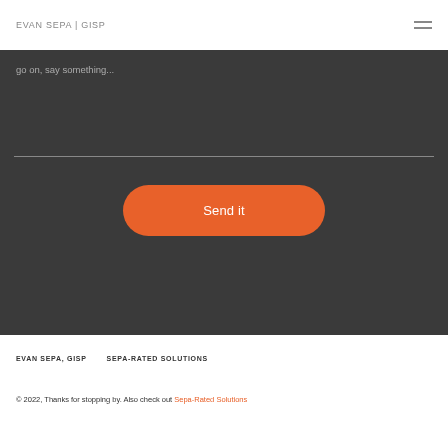EVAN SEPA | GISP
go on, say something...
Send it
EVAN SEPA, GISP   SEPA-RATED SOLUTIONS
© 2022, Thanks for stopping by. Also check out Sepa-Rated Solutions